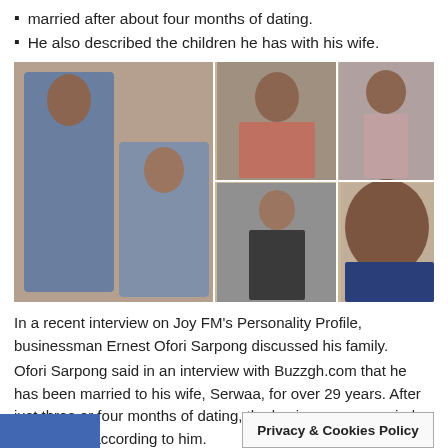married after about four months of dating.
He also described the children he has with his wife.
[Figure (photo): Collage of photos showing businessman Ernest Ofori Sarpong, his wife Serwaa, and their children including a daughter in barrister robes, and a woman speaking at a microphone.]
In a recent interview on Joy FM's Personality Profile, businessman Ernest Ofori Sarpong discussed his family.
Ofori Sarpong said in an interview with Buzzgh.com that he has been married to his wife, Serwaa, for over 29 years. After just three or four months of dating, the businessman married his partner, according to him.
Privacy & Cookies Policy